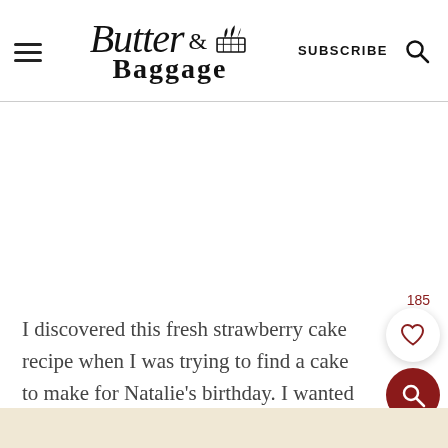Butter & Baggage — SUBSCRIBE
[Figure (screenshot): White advertisement/blank space area below header]
I discovered this fresh strawberry cake recipe when I was trying to find a cake to make for Natalie's birthday.  I wanted to try to